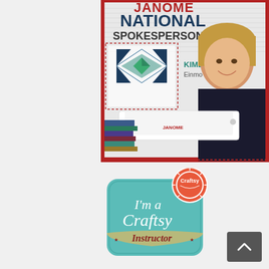[Figure (photo): Janome National Spokesperson promotional image featuring Kimberly Einmo logo and a smiling blonde woman using a Janome sewing/quilting machine]
[Figure (logo): Craftsy badge logo reading 'I'm a Craftsy Instructor' with teal rounded rectangle background and orange circular Craftsy emblem]